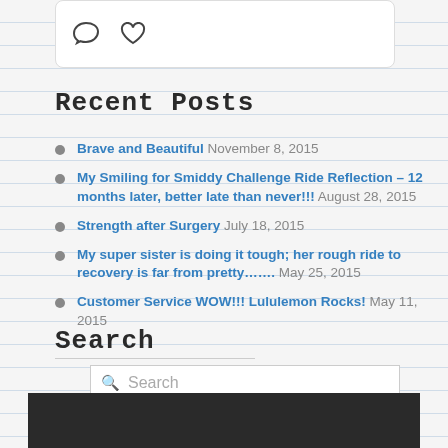[Figure (screenshot): Social media post card with comment bubble icon and heart icon]
Recent Posts
Brave and Beautiful November 8, 2015
My Smiling for Smiddy Challenge Ride Reflection – 12 months later, better late than never!!! August 28, 2015
Strength after Surgery July 18, 2015
My super sister is doing it tough; her rough ride to recovery is far from pretty……. May 25, 2015
Customer Service WOW!!! Lululemon Rocks! May 11, 2015
Search
[Figure (screenshot): Search input box with search icon placeholder text]